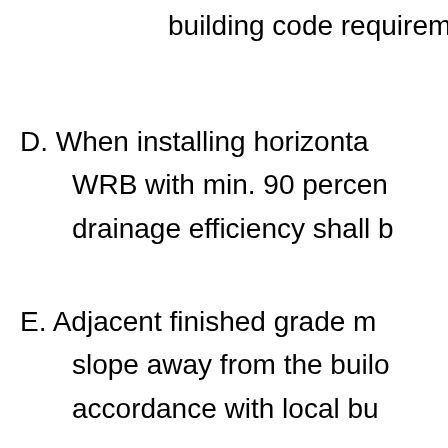building code requirements
D. When installing horizontal WRB with min. 90 percent drainage efficiency shall b
E. Adjacent finished grade must slope away from the building in accordance with local bu